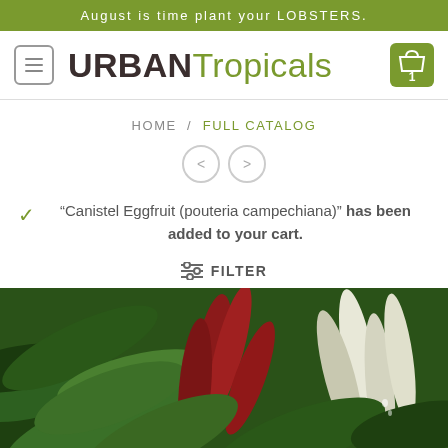August is time plant your LOBSTERS.
[Figure (logo): Urban Tropicals logo with menu hamburger icon and shopping cart badge showing 1]
HOME / FULL CATALOG
"Canistel Eggfruit (pouteria campechiana)" has been added to your cart.
FILTER
[Figure (photo): Tropical plants with large green, red and white variegated leaves]